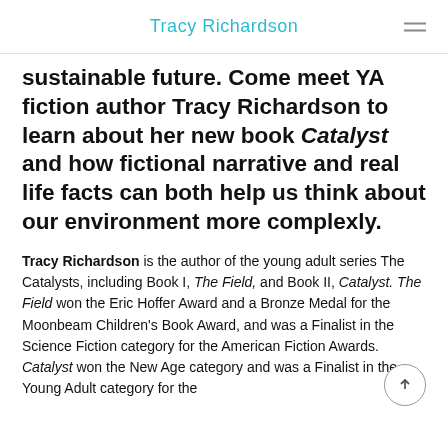Tracy Richardson
sustainable future. Come meet YA fiction author Tracy Richardson to learn about her new book Catalyst and how fictional narrative and real life facts can both help us think about our environment more complexly.
Tracy Richardson is the author of the young adult series The Catalysts, including Book I, The Field, and Book II, Catalyst. The Field won the Eric Hoffer Award and a Bronze Medal for the Moonbeam Children's Book Award, and was a Finalist in the Science Fiction category for the American Fiction Awards. Catalyst won the New Age category and was a Finalist in the Young Adult category for the